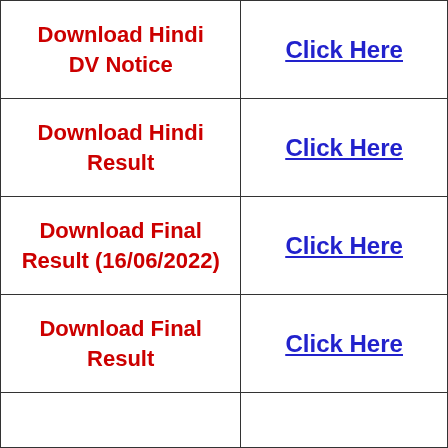| Download Hindi DV Notice | Click Here |
| Download Hindi Result | Click Here |
| Download Final Result (16/06/2022) | Click Here |
| Download Final Result | Click Here |
|  |  |